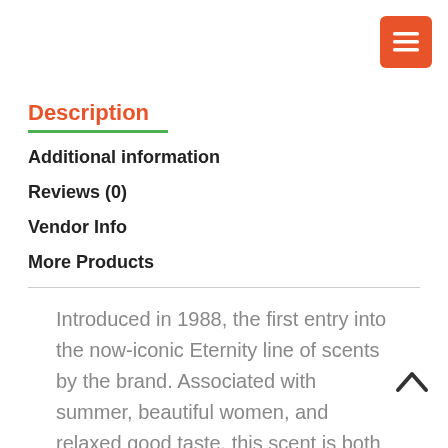menu button
Description
Additional information
Reviews (0)
Vendor Info
More Products
Introduced in 1988, the first entry into the now-iconic Eternity line of scents by the brand. Associated with summer, beautiful women, and relaxed good taste, this scent is both classic and contemporary. Echoing timeless quality while creating a thoroughly modern style, this romantic floral breathes with the subtle aroma of a spring garden.